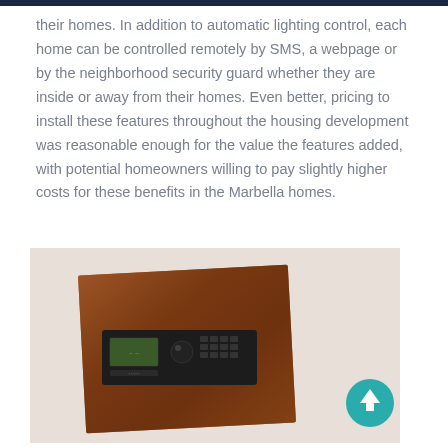their homes. In addition to automatic lighting control, each home can be controlled remotely by SMS, a webpage or by the neighborhood security guard whether they are inside or away from their homes. Even better, pricing to install these features throughout the housing development was reasonable enough for the value the features added, with potential homeowners willing to pay slightly higher costs for these benefits in the Marbella homes.
[Figure (photo): Photo of a home automation / security control panel — a rectangular brown wood-veneer panel mounted slightly tilted, with a black electronic control unit featuring a green LCD display, a dial/knob, and button grid. A teal circular scroll-to-top button overlaps the bottom-right corner.]